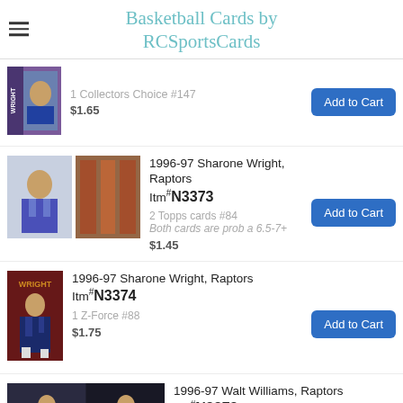Basketball Cards by RCSportsCards
1 Collectors Choice #147
$1.65
1996-97 Sharone Wright, Raptors Itm#N3373
2 Topps cards #84
Both cards are prob a 6.5-7+
$1.45
1996-97 Sharone Wright, Raptors Itm#N3374
1 Z-Force #88
$1.75
1996-97 Walt Williams, Raptors Itm#N3373
2 Upper Deck #303 &
1 Free Skybox #192
1 UD is prob a 7, Free card prob a 5.5-6